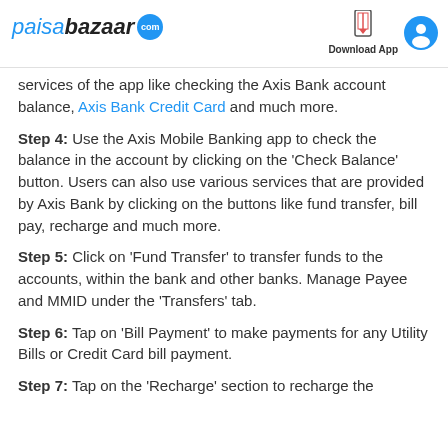paisabazaar.com | Download App
services of the app like checking the Axis Bank account balance, Axis Bank Credit Card and much more.
Step 4: Use the Axis Mobile Banking app to check the balance in the account by clicking on the 'Check Balance' button. Users can also use various services that are provided by Axis Bank by clicking on the buttons like fund transfer, bill pay, recharge and much more.
Step 5: Click on 'Fund Transfer' to transfer funds to the accounts, within the bank and other banks. Manage Payee and MMID under the 'Transfers' tab.
Step 6: Tap on 'Bill Payment' to make payments for any Utility Bills or Credit Card bill payment.
Step 7: Tap on the 'Recharge' section to recharge the